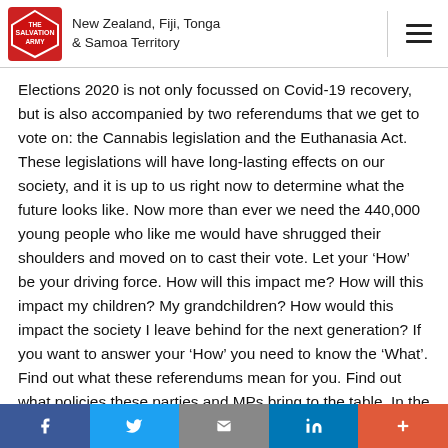New Zealand, Fiji, Tonga & Samoa Territory
Elections 2020 is not only focussed on Covid-19 recovery, but is also accompanied by two referendums that we get to vote on: the Cannabis legislation and the Euthanasia Act. These legislations will have long-lasting effects on our society, and it is up to us right now to determine what the future looks like. Now more than ever we need the 440,000 young people who like me would have shrugged their shoulders and moved on to cast their vote. Let your ‘How’ be your driving force. How will this impact me? How will this impact my children? My grandchildren? How would this impact the society I leave behind for the next generation? If you want to answer your ‘How’ you need to know the ‘What’. Find out what these referendums mean for you. Find out what policies these parties and MPs bring to the table. In the ever-changing environment that we are in, now more than ever we cannot rely on the popular vote. Be informed and cast your
f  twitter  email  in  +